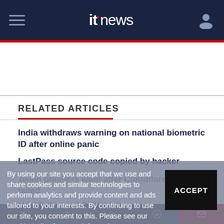itnews
RELATED ARTICLES
India withdraws warning on national biometric ID after online panic
LastPass source code copied by hacker
Twilio phishers went after Cloudflare, but failed
By using our site you accept that we use and share cookies and similar technologies to perform analytics and provide content and ads tailored to your interests. By continuing to use our site, you consent to this. Please see our Cookie Policy for more information.
MOST READ ARTICLES